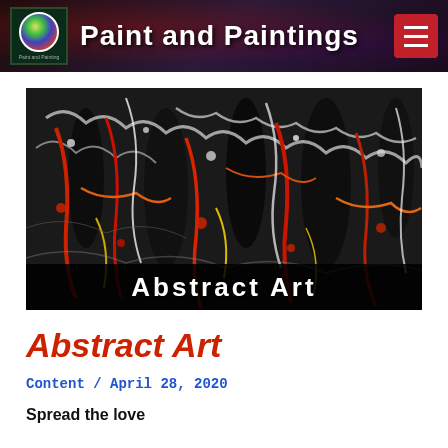Paint and Paintings
[Figure (photo): Abstract expressionist painting with dripped and splattered paint in black, red, orange, yellow, white colors — resembling Jackson Pollock style. Banner at bottom reads 'Abstract Art' in bold white text on dark background.]
Abstract Art
Content / April 28, 2020
Spread the love